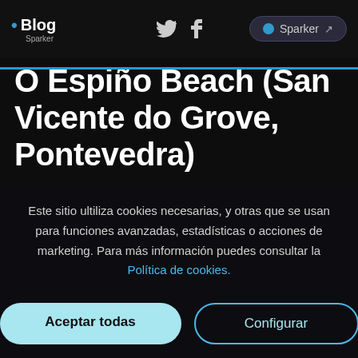Blog Sparker [nav with Twitter, Facebook, Sparker button]
O Espiño Beach (San Vicente do Grove, Pontevedra)
Este sitio ultiliza cookies necesarias, y otras que se usan para funciones avanzadas, estadísticas o acciones de marketing. Para más información puedes consultar la Política de cookies.
Aceptar todas
Configurar
Estado: Solo aceptas las cookies necesarias.